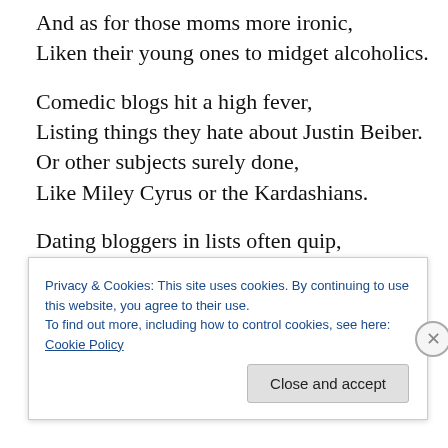And as for those moms more ironic,
Liken their young ones to midget alcoholics.
Comedic blogs hit a high fever,
Listing things they hate about Justin Beiber.
Or other subjects surely done,
Like Miley Cyrus or the Kardashians.
Dating bloggers in lists often quip,
How to get in or out of a relationship.
I think Paul Simon did it like no other,
In ‘50 Ways To Leave Your Lover’,
Privacy & Cookies: This site uses cookies. By continuing to use this website, you agree to their use.
To find out more, including how to control cookies, see here: Cookie Policy
Close and accept